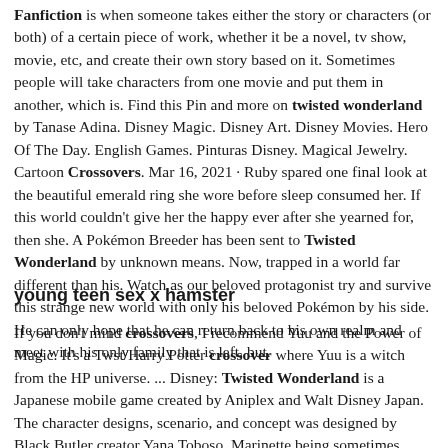Fanfiction is when someone takes either the story or characters (or both) of a certain piece of work, whether it be a novel, tv show, movie, etc, and create their own story based on it. Sometimes people will take characters from one movie and put them in another, which is. Find this Pin and more on twisted wonderland by Tanase Adina. Disney Magic. Disney Art. Disney Movies. Hero Of The Day. English Games. Pinturas Disney. Magical Jewelry. Cartoon Crossovers. Mar 16, 2021 · Ruby spared one final look at the beautiful emerald ring she wore before sleep consumed her. If this world couldn't give her the happy ever after she yearned for, then she. A Pokémon Breeder has been sent to Twisted Wonderland by unknown means. Now, trapped in a world far different than his. Watch as our beloved protagonist try and survive this strange new world with only his beloved Pokémon by his side. He can only hope that he can return back to his own realm and meet with his only family that is left, but.
young teen sex x hamster
If you don't mind crossovers, I recommend Yuu and the Power of Magic. It's a Twst/Harry Potter crossover where Yuu is a witch from the HP universe. ... Disney: Twisted Wonderland is a Japanese mobile game created by Aniplex and Walt Disney Japan. The character designs, scenario, and concept was designed by Black Butler creator Yana Toboso. Marinette being sometimes